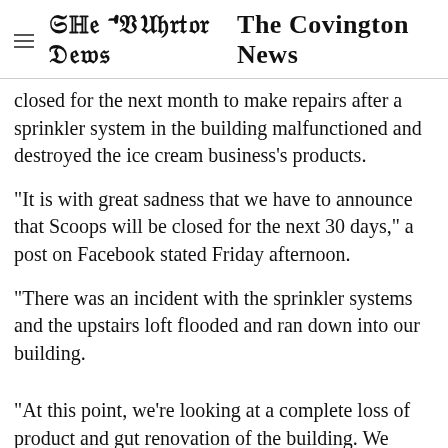The Covington News
closed for the next month to make repairs after a sprinkler system in the building malfunctioned and destroyed the ice cream business's products.
"It is with great sadness that we have to announce that Scoops will be closed for the next 30 days," a post on Facebook stated Friday afternoon.
"There was an incident with the sprinkler systems and the upstairs loft flooded and ran down into our building.
"At this point, we’re looking at a complete loss of product and gut renovation of the building. We sincerely hope to be back to serving you as absolutely soon as possible!!!"